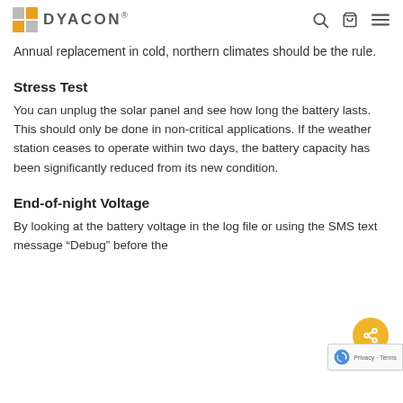DYACON
Annual replacement in cold, northern climates should be the rule.
Stress Test
You can unplug the solar panel and see how long the battery lasts. This should only be done in non-critical applications. If the weather station ceases to operate within two days, the battery capacity has been significantly reduced from its new condition.
End-of-night Voltage
By looking at the battery voltage in the log file or using the SMS text message “Debug” before the